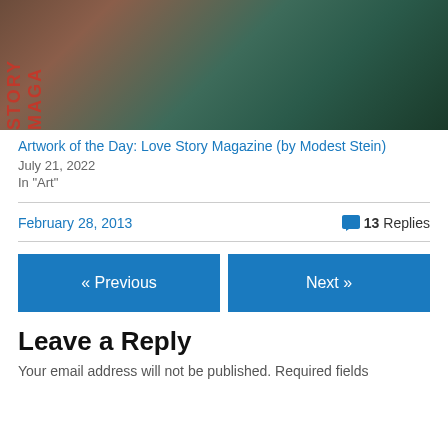[Figure (photo): Magazine cover showing a man and woman, with 'STORY MAGA' text visible on the left side. Partial view of Love Story Magazine cover illustration.]
Artwork of the Day: Love Story Magazine (by Modest Stein)
July 21, 2022
In "Art"
February 28, 2013
13 Replies
« Previous
Next »
Leave a Reply
Your email address will not be published. Required fields